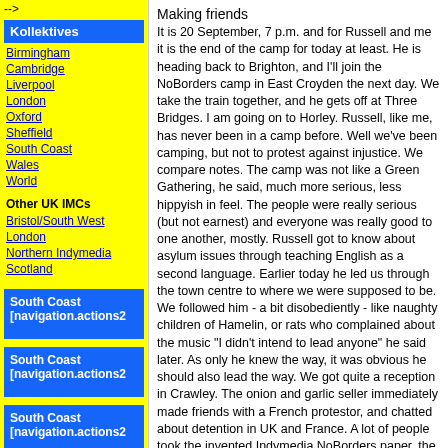-->
Kollektives
Birmingham
Cambridge
Liverpool
London
Oxford
Sheffield
South Coast
Wales
World
Other UK IMCs
Bristol/South West
London
Northern Indymedia
Scotland
South Coast [navigation.actions2
South Coast [navigation.actions2
South Coast [navigation.actions2
Making friends
It is 20 September, 7 p.m. and for Russell and me it is the end of the camp for today at least. He is heading back to Brighton, and I'll join the NoBorders camp in East Croyden the next day. We take the train together, and he gets off at Three Bridges. I am going on to Horley. Russell, like me, has never been in a camp before. Well we've been camping, but not to protest against injustice. We compare notes. The camp was not like a Green Gathering, he said, much more serious, less hippyish in feel. The people were really serious (but not earnest) and everyone was really good to one another, mostly. Russell got to know about asylum issues through teaching English as a second language. Earlier today he led us through the town centre to where we were supposed to be. We followed him - a bit disobediently - like naughty children of Hamelin, or rats who complained about the music "I didn't intend to lead anyone" he said later. As only he knew the way, it was obvious he should also lead the way. We got quite a reception in Crawley. The onion and garlic seller immediately made friends with a French protestor, and chatted about detention in UK and France. A lot of people took the invented Indymedia NoBorders paper, the 'Gatwick Express'. Soon with the sound system set up, the whole thing took on a kind of festive air. Jo behind the mike patiently repeated: "Get your Gatwick Express. Read the news the other papers leave out. Hear the other side of the story about asylum and detention, the bits they don't want you to know".